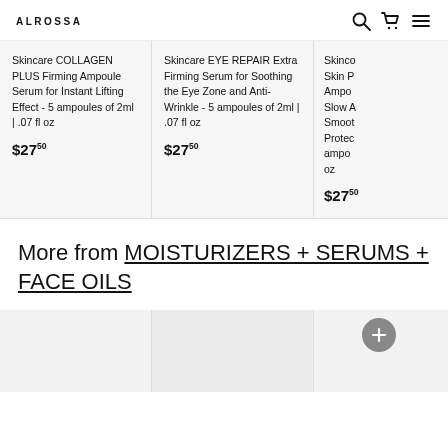ALROSSA
Skincare COLLAGEN PLUS Firming Ampoule Serum for Instant Lifting Effect - 5 ampoules of 2ml | .07 fl oz
$27.50
Skincare EYE REPAIR Extra Firming Serum for Soothing the Eye Zone and Anti-Wrinkle - 5 ampoules of 2ml | .07 fl oz
$27.50
Skinco... Skin P... Ampo... Slow A... Smoot... Protec... ampo... oz
$27.50
More from MOISTURIZERS + SERUMS + FACE OILS
[Figure (photo): Three skincare product thumbnail images partially visible at the bottom of the page]